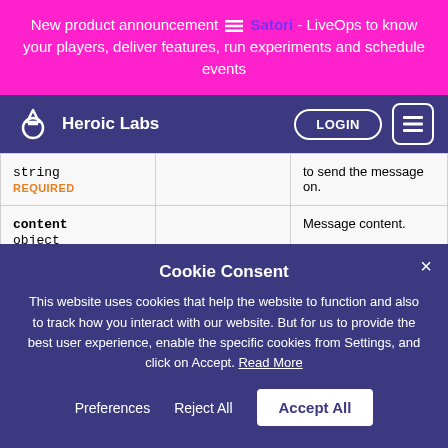New product announcement ≡ Satori - LiveOps to know your players, deliver features, run experiments and schedule events
Heroic Labs — LOGIN
| Parameter | Type/Required | Description |
| --- | --- | --- |
| string
REQUIRED |  | to send the message on. |
| content
object |  | Message content. |
Cookie Consent
This website uses cookies that help the website to function and also to track how you interact with our website. But for us to provide the best user experience, enable the specific cookies from Settings, and click on Accept. Read More